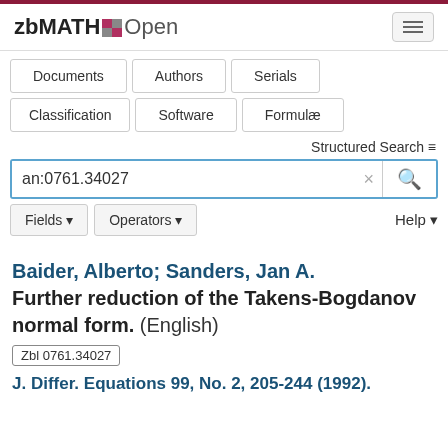zbMATH Open
Documents
Authors
Serials
Classification
Software
Formulæ
Structured Search
an:0761.34027
Fields  Operators  Help
Baider, Alberto; Sanders, Jan A. Further reduction of the Takens-Bogdanov normal form. (English)
Zbl 0761.34027
J. Differ. Equations 99, No. 2, 205-244 (1992).